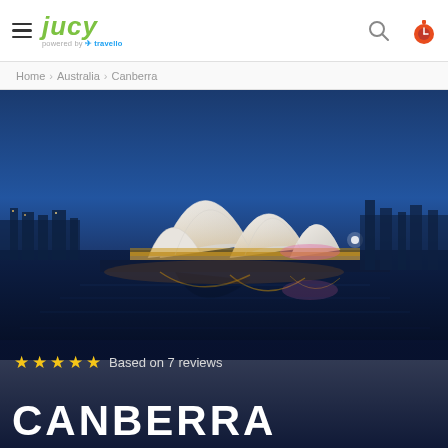JUCY powered by travello — navigation header with hamburger menu, search icon, and profile icon
Home > Australia > Canberra
[Figure (photo): Nighttime photo of the Sydney Opera House with its iconic white shell-shaped roof structures reflected in the water below, illuminated by golden and pink lights against a deep blue dusk sky]
★★★★★ Based on 7 reviews
CANBERRA